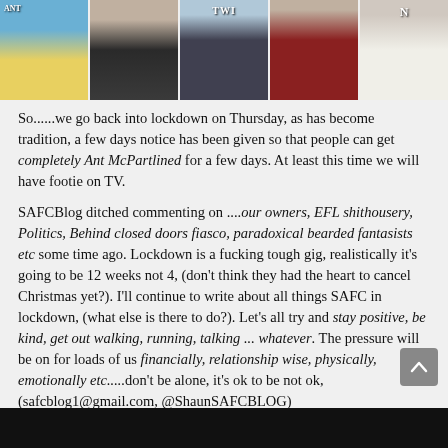[Figure (photo): A horizontal strip of five photos showing women, including one in a yellow dress, one in a black top, one in a black dress, one in a red patterned top, and one in a white sleeveless top. Some have TV show letter tiles in the background.]
So......we go back into lockdown on Thursday, as has become tradition, a few days notice has been given so that people can get completely Ant McPartlined for a few days. At least this time we will have footie on TV.

SAFCBlog ditched commenting on ....our owners, EFL shithousery, Politics, Behind closed doors fiasco, paradoxical bearded fantasists etc some time ago. Lockdown is a fucking tough gig, realistically it's going to be 12 weeks not 4, (don't think they had the heart to cancel Christmas yet?). I'll continue to write about all things SAFC in lockdown, (what else is there to do?). Let's all try and stay positive, be kind, get out walking, running, talking ... whatever. The pressure will be on for loads of us financially, relationship wise, physically, emotionally etc.....don't be alone, it's ok to be not ok, (safcblog1@gmail.com, @ShaunSAFCBLOG)

Winter is shit, but there's another summer next year.....
[Figure (photo): A partial view of another photo strip at the bottom of the page, dark background with some figures visible.]